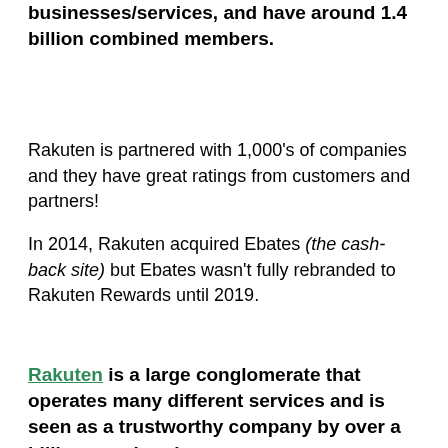businesses/services, and have around 1.4 billion combined members.
Rakuten is partnered with 1,000's of companies and they have great ratings from customers and partners!
In 2014, Rakuten acquired Ebates (the cash-back site) but Ebates wasn't fully rebranded to Rakuten Rewards until 2019.
Rakuten is a large conglomerate that operates many different services and is seen as a trustworthy company by over a billion members!
Now to answer the question…